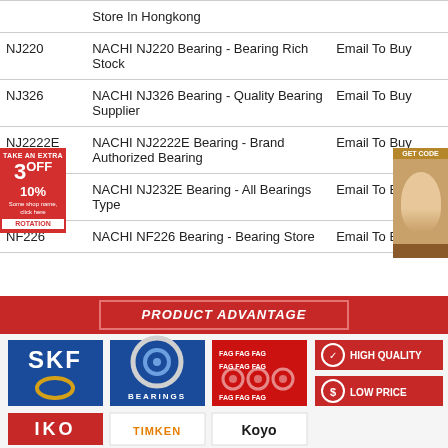| Code | Description | Action |
| --- | --- | --- |
|  | Store In Hongkong |  |
| NJ220 | NACHI NJ220 Bearing - Bearing Rich Stock | Email To Buy |
| NJ326 | NACHI NJ326 Bearing - Quality Bearing Supplier | Email To Buy |
| NJ2222E | NACHI NJ2222E Bearing - Brand Authorized Bearing | Email To Buy |
| NJ232E | NACHI NJ232E Bearing - All Bearings Type | Email To Buy |
| NF226 | NACHI NF226 Bearing - Bearing Store | Email To Buy |
[Figure (infographic): Product Advantage section with bearing brand logos (SKF, NSK, FAG, IKO, TIMKEN, Koyo) and quality badges (HIGH QUALITY, LOW PRICE)]